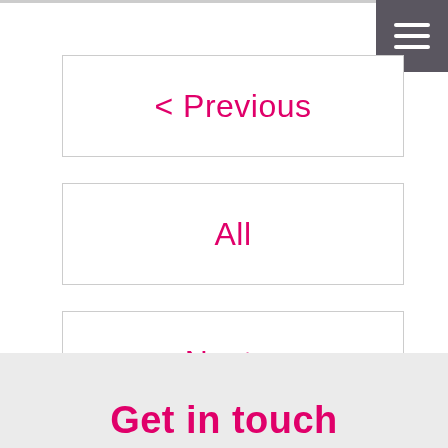[Figure (other): Hamburger menu icon (three white horizontal lines on dark grey background) in top-right corner]
< Previous
All
Next >
[Figure (other): Scroll-to-top arrow button (white upward arrow on pink/magenta background) in right side]
Get in touch